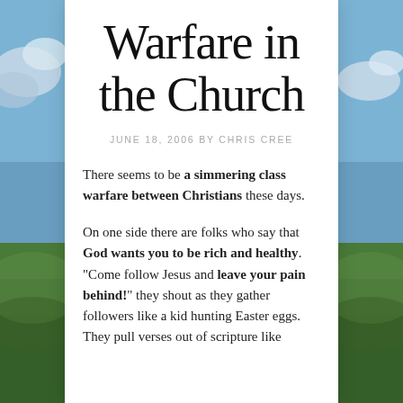[Figure (photo): Outdoor landscape photo showing green fields, blue sky with clouds, visible on left and right sides behind white card overlay]
Warfare in the Church
JUNE 18, 2006 BY CHRIS CREE
There seems to be a simmering class warfare between Christians these days.
On one side there are folks who say that God wants you to be rich and healthy. "Come follow Jesus and leave your pain behind!" they shout as they gather followers like a kid hunting Easter eggs. They pull verses out of scripture like